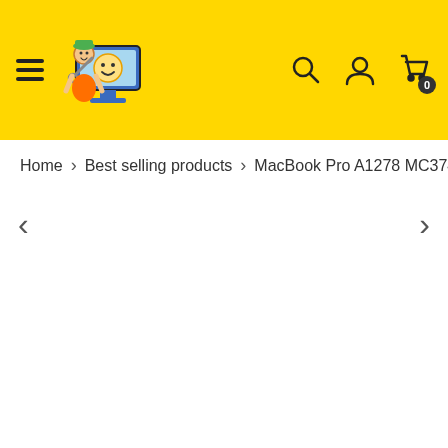Navigation header with menu icon, logo, search, user, and cart icons
Home > Best selling products > MacBook Pro A1278 MC374